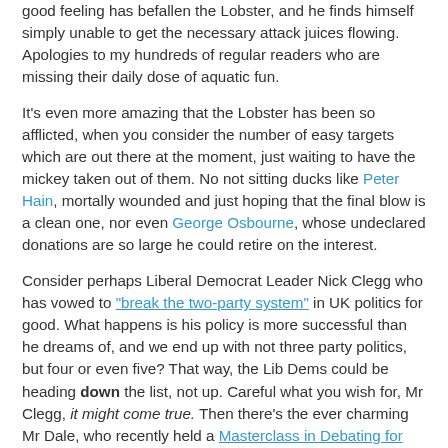good feeling has befallen the Lobster, and he finds himself simply unable to get the necessary attack juices flowing. Apologies to my hundreds of regular readers who are missing their daily dose of aquatic fun.
It's even more amazing that the Lobster has been so afflicted, when you consider the number of easy targets which are out there at the moment, just waiting to have the mickey taken out of them. No not sitting ducks like Peter Hain, mortally wounded and just hoping that the final blow is a clean one, nor even George Osbourne, whose undeclared donations are so large he could retire on the interest.
Consider perhaps Liberal Democrat Leader Nick Clegg who has vowed to "break the two-party system" in UK politics for good. What happens is his policy is more successful than he dreams of, and we end up with not three party politics, but four or even five? That way, the Lib Dems could be heading down the list, not up. Careful what you wish for, Mr Clegg, it might come true. Then there's the ever charming Mr Dale, who recently held a Masterclass in Debating for Ignorant People. Top tips: Hold strong opinions, but don't say why;